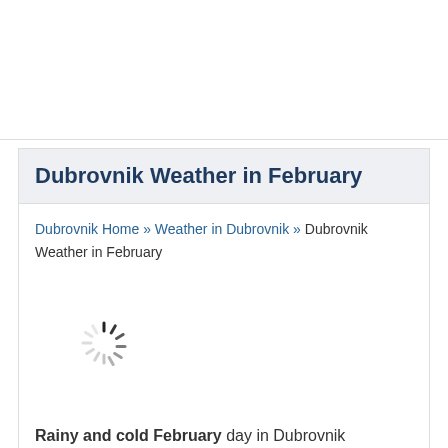Dubrovnik Weather in February
Dubrovnik Home » Weather in Dubrovnik » Dubrovnik Weather in February
[Figure (other): Loading spinner / activity indicator]
Rainy and cold February day in Dubrovnik
Average Daily Temperatures